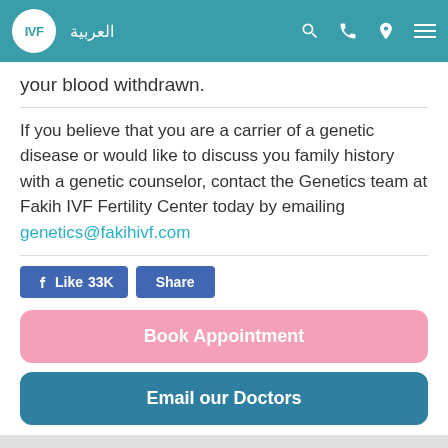IVF | العربية
your blood withdrawn.
If you believe that you are a carrier of a genetic disease or would like to discuss you family history with a genetic counselor, contact the Genetics team at Fakih IVF Fertility Center today by emailing genetics@fakihivf.com
[Figure (screenshot): Facebook Like (33K) and Share buttons]
[Figure (infographic): Book Appointment pink button and Email our Doctors teal button]
Navigation footer with calendar, doctor, airplane, heart icons and chat bubble